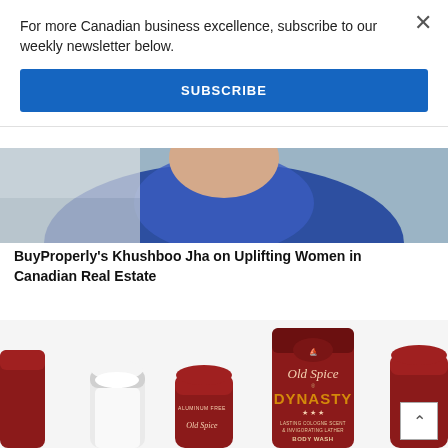For more Canadian business excellence, subscribe to our weekly newsletter below.
SUBSCRIBE
[Figure (photo): A person wearing a blue top, partially visible, likely a professional portrait used as a hero image for an article about BuyProperly's Khushboo Jha.]
BuyProperly's Khushboo Jha on Uplifting Women in Canadian Real Estate
[Figure (photo): Old Spice Dynasty Body Wash and deodorant product lineup in red containers, showing 'Old Spice Dynasty, Lasting Cologne Scent & Invigorating Lather, Body Wash' and 'Aluminum Free' deodorant sticks.]